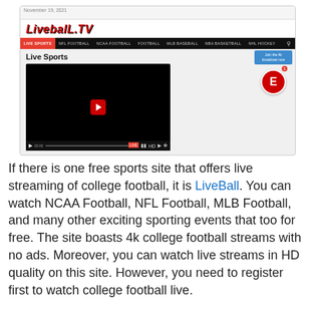[Figure (screenshot): Screenshot of LiveBall.TV website showing the logo, navigation bar with LIVE SPORTS, NFL FOOTBALL, NCAA FOOTBALL, FOOTBALL, MLB BASEBALL, NBA BASKETBALL, NHL HOCKEY tabs, a Live Sports page with a video player showing a black screen with a red loading/play button, video controls at the bottom, a blue 'Join the 4k broadcast now' button, and an ESPN logo circle.]
If there is one free sports site that offers live streaming of college football, it is LiveBall. You can watch NCAA Football, NFL Football, MLB Football, and many other exciting sporting events that too for free. The site boasts 4k college football streams with no ads. Moreover, you can watch live streams in HD quality on this site. However, you need to register first to watch college football live.